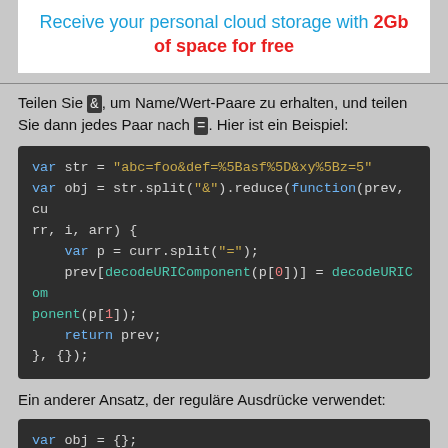[Figure (other): Advertisement banner: 'Receive your personal cloud storage with 2Gb of space for free']
Teilen Sie &, um Name/Wert-Paare zu erhalten, und teilen Sie dann jedes Paar nach =. Hier ist ein Beispiel:
[Figure (screenshot): Code block showing JavaScript: var str = "abc=foo&def=%5Basf%5D&xy%5Bz=5"
var obj = str.split("&").reduce(function(prev, curr, i, arr) {
    var p = curr.split("=");
    prev[decodeURIComponent(p[0])] = decodeURIComponent(p[1]);
    return prev;
}, {});]
Ein anderer Ansatz, der reguläre Ausdrücke verwendet:
[Figure (screenshot): Code block showing JavaScript: var obj = {};
str.replace(/([^=&]+)=([^&]*)/g, function(m, key...]